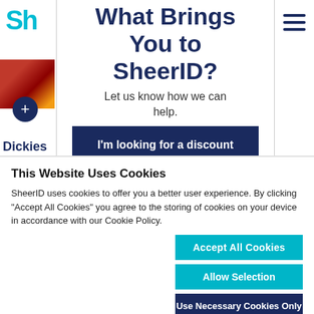[Figure (logo): SheerID logo partial - 'Sh' in cyan/teal color]
What Brings You to SheerID?
Let us know how we can help.
I'm looking for a discount
[Figure (illustration): Hamburger menu icon (three horizontal lines) in dark navy]
[Figure (photo): Product image - red plaid clothing item]
Dickies
This Website Uses Cookies
SheerID uses cookies to offer you a better user experience. By clicking "Accept All Cookies" you agree to the storing of cookies on your device in accordance with our Cookie Policy.
Accept All Cookies
Allow Selection
Use Necessary Cookies Only
Necessary  Preferences  Statistics  Marketing  Show Details